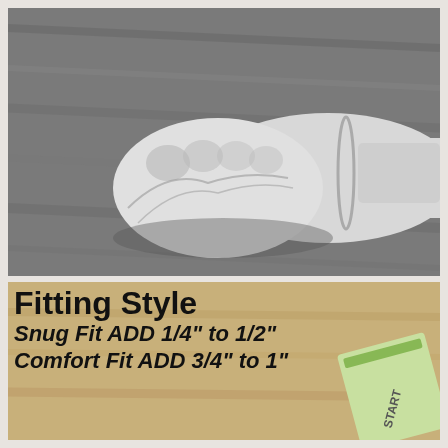[Figure (photo): Black and white photograph of a person's hand and wrist resting on a wooden surface, wearing a thin metal bangle bracelet on the wrist. The hand is in a fist position.]
[Figure (photo): Color photo with overlaid bold black text showing bracelet fitting style instructions. Background shows a wooden surface and a partial view of what appears to be a measuring tape or card.]
Fitting Style Snug Fit ADD 1/4" to 1/2" Comfort Fit ADD 3/4" to 1"